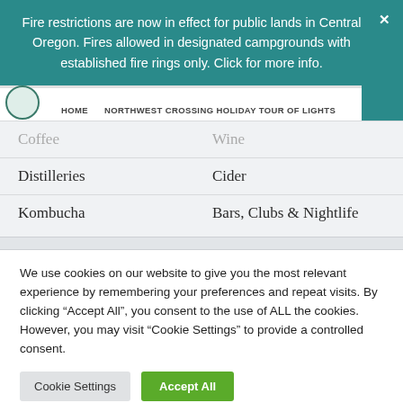Fire restrictions are now in effect for public lands in Central Oregon. Fires allowed in designated campgrounds with established fire rings only. Click for more info.
HOME | NORTHWEST CROSSING HOLIDAY TOUR OF LIGHTS
Coffee
Wine
Distilleries
Cider
Kombucha
Bars, Clubs & Nightlife
We use cookies on our website to give you the most relevant experience by remembering your preferences and repeat visits. By clicking “Accept All”, you consent to the use of ALL the cookies. However, you may visit “Cookie Settings” to provide a controlled consent.
Cookie Settings | Accept All